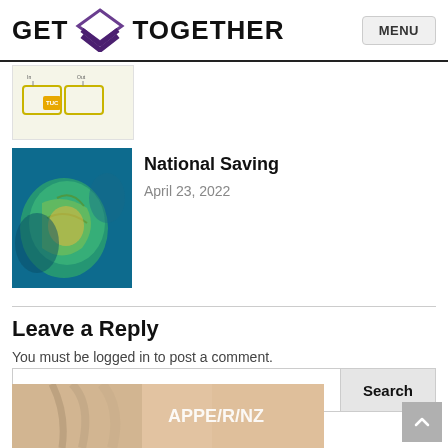GET TOGETHER  MENU
[Figure (screenshot): Partial thumbnail of a diagram with yellow and white boxes on a light background]
[Figure (photo): Close-up photo of an underwater scene showing a sea turtle or globe-like object with green and yellow tones against a blue background]
National Saving
April 23, 2022
Leave a Reply
You must be logged in to post a comment.
[Figure (screenshot): Partial photo of a person's face with text overlay reading APPE/R/NZ]